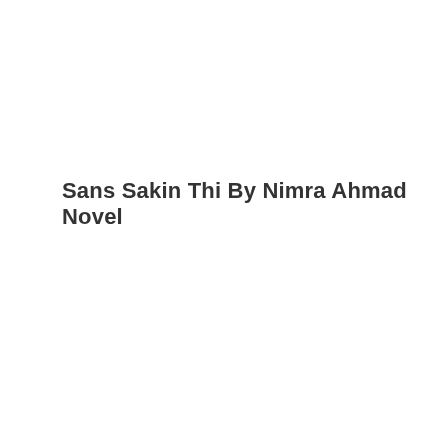Sans Sakin Thi By Nimra Ahmad Novel